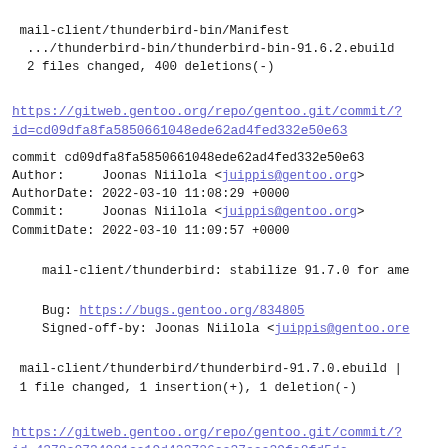mail-client/thunderbird-bin/Manifest
 .../thunderbird-bin/thunderbird-bin-91.6.2.ebuild
 2 files changed, 400 deletions(-)
https://gitweb.gentoo.org/repo/gentoo.git/commit/?id=cd09dfa8fa5850661048ede62ad4fed332e50e63
commit cd09dfa8fa5850661048ede62ad4fed332e50e63
Author:     Joonas Niilola <juippis@gentoo.org>
AuthorDate: 2022-03-10 11:08:29 +0000
Commit:     Joonas Niilola <juippis@gentoo.org>
CommitDate: 2022-03-10 11:09:57 +0000
mail-client/thunderbird: stabilize 91.7.0 for ame
Bug: https://bugs.gentoo.org/834805
    Signed-off-by: Joonas Niilola <juippis@gentoo.ore
mail-client/thunderbird/thunderbird-91.7.0.ebuild |
 1 file changed, 1 insertion(+), 1 deletion(-)
https://gitweb.gentoo.org/repo/gentoo.git/commit/?id=4378c0734981ca19d433726ca37eca39fa8fd5dc
commit 4378c0734981ca19d433726ca37eca39fa8fd5dc
Author:     Joonas Niilola <juippis@gentoo.org>
AuthorDate: 2022-03-10 11:07:53 +0000
Commit:     Joonas Niilola <juippis@gentoo.org>
CommitDate: 2022-03-10 11:09:57 +0000